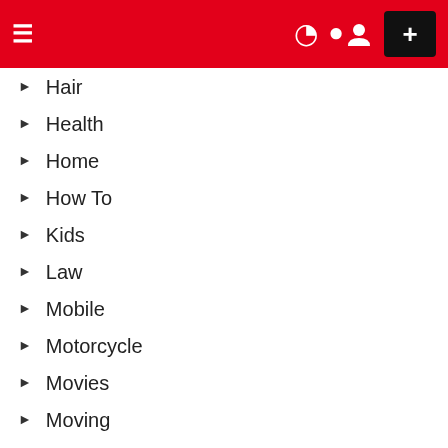Navigation menu header with hamburger menu, moon icon, user icon, and plus button
Hair
Health
Home
How To
Kids
Law
Mobile
Motorcycle
Movies
Moving
Net Worth
NFL
Plants
Politics
Series
Sex
Sports
Style
Technology
Tips
Top Reading